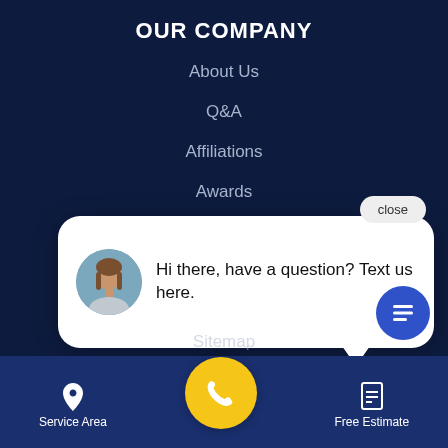OUR COMPANY
About Us
Q&A
Affiliations
Awards
Blog
Meet The Team
Press Release
[Figure (screenshot): Chat widget overlay with circular avatar photo of a woman and text: Hi there, have a question? Text us here. A close button is in the top right.]
Sitemap
Service Area | [phone call button] | Free Estimate